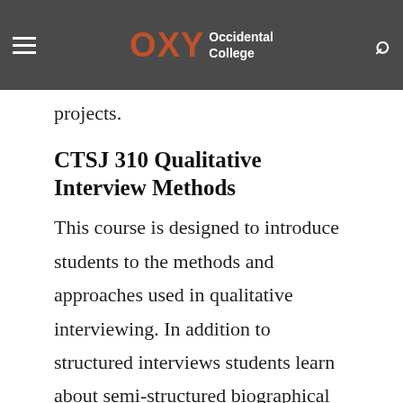OXY Occidental College
discourse analysis strategies in order to develop their own independent qualitative research projects.
CTSJ 310 Qualitative Interview Methods
This course is designed to introduce students to the methods and approaches used in qualitative interviewing. In addition to structured interviews students learn about semi-structured biographical and narrative interviewing methods. The course also explores the ethical dilemmas and research challenges inherent during interviewing as well as the details of conducting qualitative interviews. By the end of the semester each student will have constructed modified conducted analyzed and